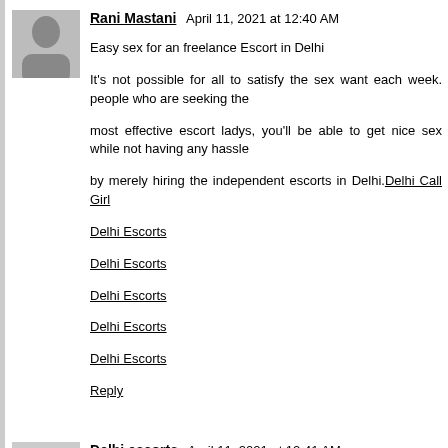Rani Mastani  April 11, 2021 at 12:40 AM
Easy sex for an freelance Escort in Delhi
It's not possible for all to satisfy the sex want each week. people who are seeking the
most effective escort ladys, you'll be able to get nice sex while not having any hassle
by merely hiring the independent escorts in Delhi.Delhi Call Girl
Delhi Escorts
Delhi Escorts
Delhi Escorts
Delhi Escorts
Delhi Escorts
Reply
Delhi escorts  April 11, 2021 at 12:41 AM
Take Delhi Escorts Girl on Rent for an Hourly or Night/Day
A heat greeting to my all stunning visitor who desires to make investments their first-class power
perusing this internet site web page.Delhi Call Girl
Delhi Escorts
Delhi Escorts
Delhi Escorts
Delhi Escorts
Delhi Escorts
Reply